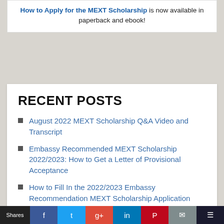How to Apply for the MEXT Scholarship is now available in paperback and ebook!
RECENT POSTS
August 2022 MEXT Scholarship Q&A Video and Transcript
Embassy Recommended MEXT Scholarship 2022/2023: How to Get a Letter of Provisional Acceptance
How to Fill In the 2022/2023 Embassy Recommendation MEXT Scholarship Application Form
MEXT Scholarship Eligibility Criteria –
Shares | Facebook | Twitter | Google+ | LinkedIn | Pinterest | Email | Bookmark